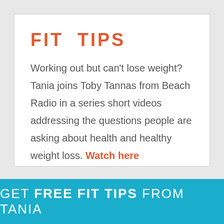FIT TIPS
Working out but can't lose weight? Tania joins Toby Tannas from Beach Radio in a series short videos addressing the questions people are asking about health and healthy weight loss. Watch here
GET FREE FIT TIPS FROM TANIA